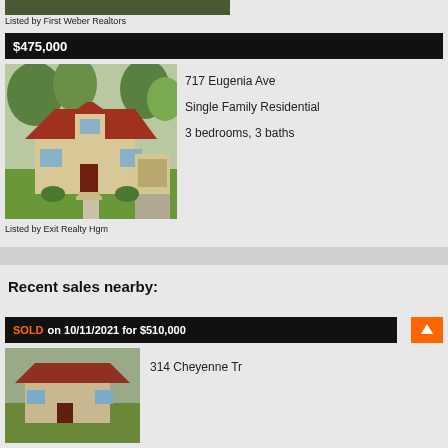Listed by First Weber Realtors
$475,000
[Figure (photo): House exterior photo - a single family home with red roof, beige siding, surrounded by green trees and lawn]
717 Eugenia Ave
Single Family Residential
3 bedrooms, 3 baths
Listed by Exit Realty Hgm
Recent sales nearby:
SOLD on 10/11/2021 for $510,000
[Figure (photo): Another house exterior photo]
314 Cheyenne Tr